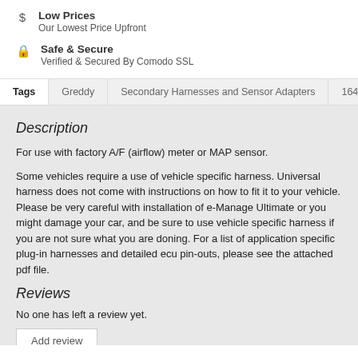Low Prices
Our Lowest Price Upfront
Safe & Secure
Verified & Secured By Comodo SSL
Tags  Greddy  Secondary Harnesses and Sensor Adapters  16401301
Description
For use with factory A/F (airflow) meter or MAP sensor.
Some vehicles require a use of vehicle specific harness. Universal harness does not come with instructions on how to fit it to your vehicle. Please be very careful with installation of e-Manage Ultimate or you might damage your car, and be sure to use vehicle specific harness if you are not sure what you are doning. For a list of application specific plug-in harnesses and detailed ecu pin-outs, please see the attached pdf file.
Reviews
No one has left a review yet.
Add review